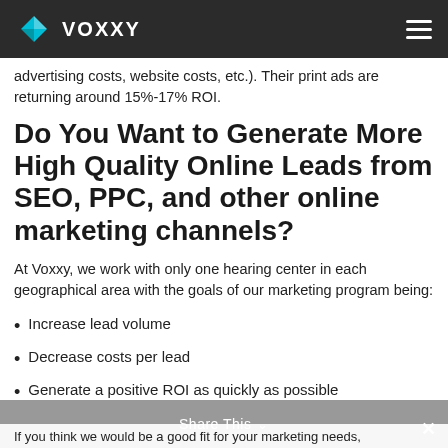VOXXY
advertising costs, website costs, etc.). Their print ads are returning around 15%-17% ROI.
Do You Want to Generate More High Quality Online Leads from SEO, PPC, and other online marketing channels?
At Voxxy, we work with only one hearing center in each geographical area with the goals of our marketing program being:
Increase lead volume
Decrease costs per lead
Generate a positive ROI as quickly as possible
Share This  If you think we would be a good fit for your marketing needs,